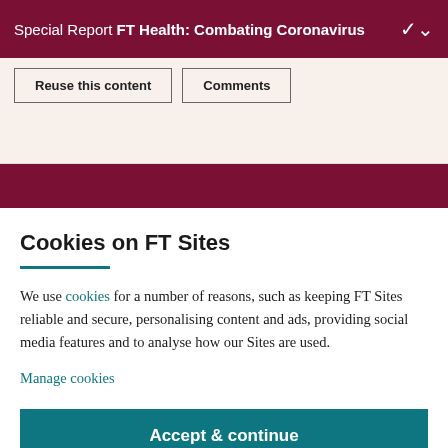Special Report FT Health: Combating Coronavirus
[Figure (screenshot): Two buttons: 'Reuse this content' and 'Comments' on a beige background]
[Figure (other): Dark red horizontal divider bar]
Cookies on FT Sites
We use cookies for a number of reasons, such as keeping FT Sites reliable and secure, personalising content and ads, providing social media features and to analyse how our Sites are used.
Manage cookies
Accept & continue